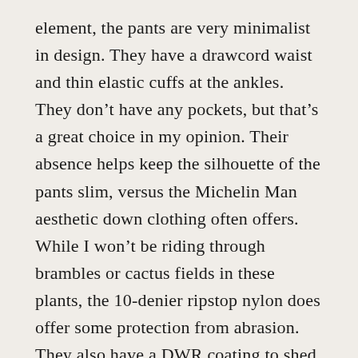element, the pants are very minimalist in design. They have a drawcord waist and thin elastic cuffs at the ankles. They don't have any pockets, but that's a great choice in my opinion. Their absence helps keep the silhouette of the pants slim, versus the Michelin Man aesthetic down clothing often offers. While I won't be riding through brambles or cactus fields in these plants, the 10-denier ripstop nylon does offer some protection from abrasion. They also have a DWR coating to shed precipitation. The pants come with a small stuff sack for safe-keeping in the pack. Montbell's light down pants aren't cheap, but I think they're worth the investment for folks like me who often find themselves heading off